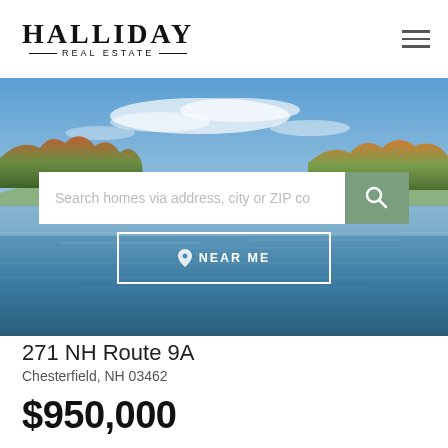[Figure (logo): Halliday Real Estate logo with serif font and decorative lines]
[Figure (photo): Scenic landscape with lake and autumn trees reflecting in calm water under blue sky with clouds]
Search homes via address, city or ZIP co
NEAR ME
271 NH Route 9A
Chesterfield, NH 03462
$950,000